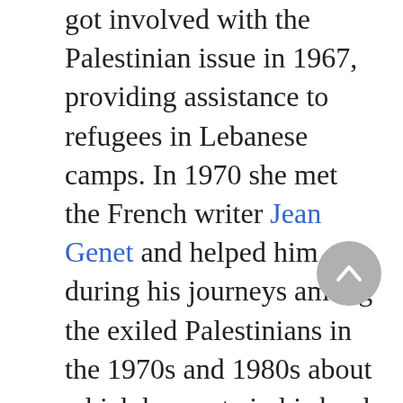got involved with the Palestinian issue in 1967, providing assistance to refugees in Lebanese camps. In 1970 she met the French writer Jean Genet and helped him during his journeys among the exiled Palestinians in the 1970s and 1980s about which he wrote in his book Un captif amoureux (1986; in English Prisoner of Love, 2003).

Between 1974 and 1977, following a stint as a journalist for a Lebanese weekly, Shahib studied sociology in